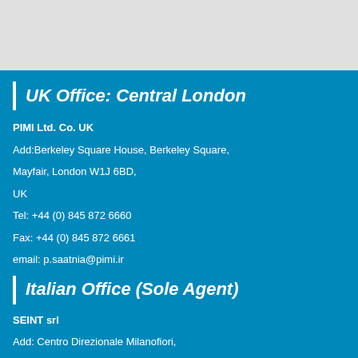UK Office: Central London
PIMI Ltd. Co. UK
Add:Berkeley Square House, Berkeley Square,
Mayfair, London W1J 6BD,
UK
Tel: +44 (0) 845 872 6660
Fax: +44 (0) 845 872 6661
email: p.saatnia@pimi.ir
Italian Office (Sole Agent)
SEINT srl
Add: Centro Direzionale Milanofiori,